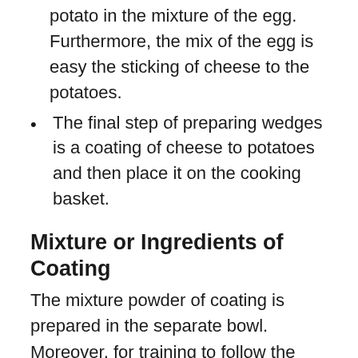potato in the mixture of the egg. Furthermore, the mix of the egg is easy the sticking of cheese to the potatoes.
The final step of preparing wedges is a coating of cheese to potatoes and then place it on the cooking basket.
Mixture or Ingredients of Coating
The mixture powder of coating is prepared in the separate bowl. Moreover, for training to follow the below mention direction. The ingredients of the coating mixture are flour, egg, and cheese. Furthermore, if you want an excellent and perfect crispy taste, you first dip the potato into the flour bowl. Flour coating is